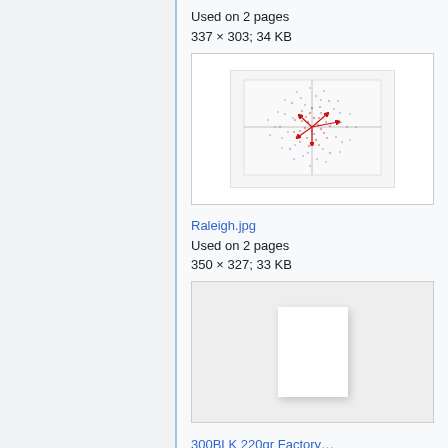Used on 2 pages
337 × 303; 34 KB
[Figure (continuous-plot): Scatter/density plot with red and blue points clustered in a circular pattern with red arrows emanating from center, on a light grid background.]
Raleigh.jpg
Used on 2 pages
350 × 327; 33 KB
[Figure (other): White blank rectangle with drop shadow on a light gray background.]
300BLK 220gr Factory…